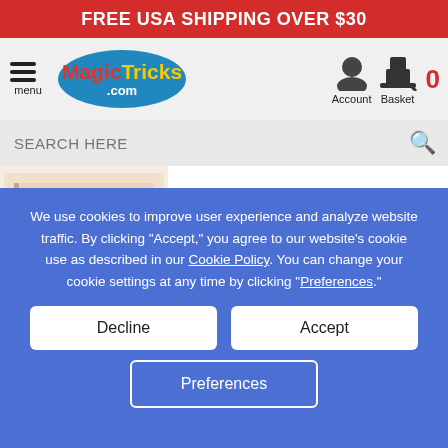FREE USA SHIPPING OVER $30
[Figure (logo): MagicTricks.com logo in blue oval with red 'Magic' and yellow 'Tricks' text, plus menu hamburger icon and Account/Basket navigation icons]
SEARCH HERE
[Figure (photo): Product image showing what appears to be a magic book or playing card instruction manual with illustrated figures]
$9.99
More Info
We use cookies to improve user experience and analyze website traffic. By clicking “Accept,” you agree to our website’s cookie use as described in our Cookie Policy. You can change your cookie settings at any time by clicking “Preferences.”
Decline
Accept
Preferences